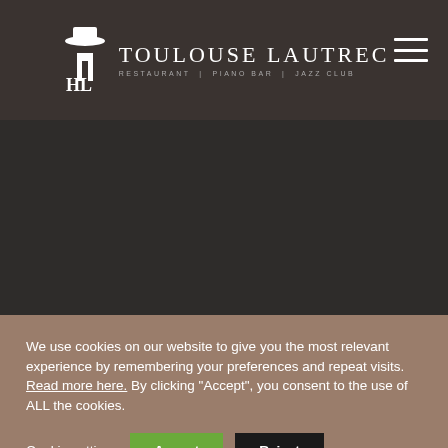[Figure (logo): Toulouse Lautrec restaurant logo with a silhouette figure wearing a top hat, text reading TOULOUSE LAUTREC and subtitle RESTAURANT | PIANO BAR | JAZZ CLUB]
We use cookies on our website to give you the most relevant experience by remembering your preferences and repeat visits. Read more here. By clicking “Accept”, you consent to the use of ALL the cookies.
Cookie settings
Accept
Reject